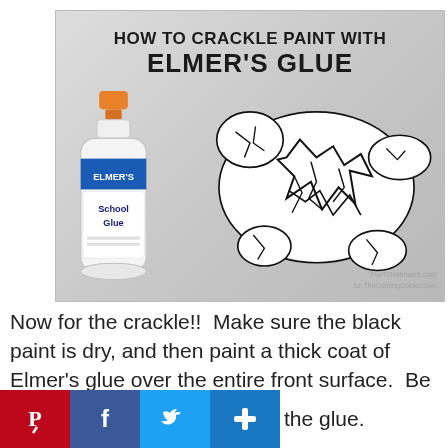[Figure (photo): Photo showing a bottle of Elmer's School Glue next to a crackle-painted figure (resembling a turtle or animal shape) with black crackle texture on white paint surface. Title overlay reads 'How To Crackle Paint with Elmer's Glue'. Watermark: FunThinkMakeIt.com.]
Now for the crackle!!  Make sure the black paint is dry, and then paint a thick coat of Elmer's glue over the entire front surface.  Be sure not to do too many brush strokes over the glue.
[Figure (infographic): Social sharing bar with Pinterest (red), Facebook (blue), Twitter (light blue), and Share (blue plus icon) buttons at the bottom of the page.]